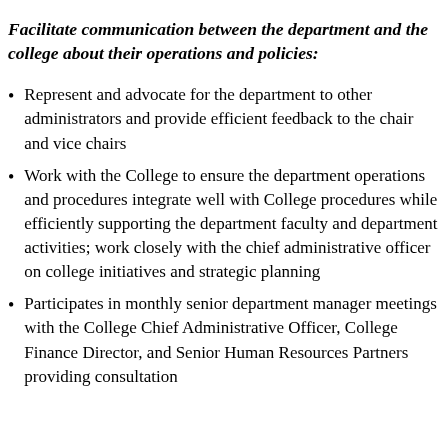Facilitate communication between the department and the college about their operations and policies:
Represent and advocate for the department to other administrators and provide efficient feedback to the chair and vice chairs
Work with the College to ensure the department operations and procedures integrate well with College procedures while efficiently supporting the department faculty and department activities; work closely with the chief administrative officer on college initiatives and strategic planning
Participates in monthly senior department manager meetings with the College Chief Administrative Officer, College Finance Director, and Senior Human Resources Partners providing consultation